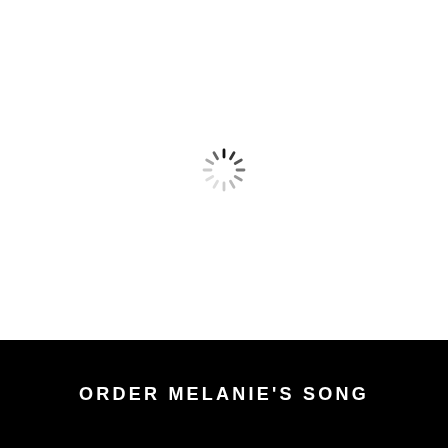[Figure (other): Loading spinner icon — circular dashed ring with radial tick marks in varying shades of gray and black, indicating a loading/waiting state.]
ORDER MELANIE'S SONG